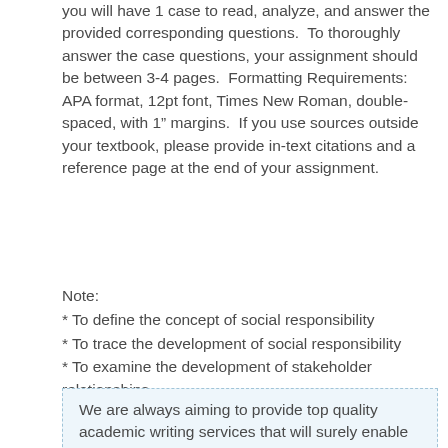you will have 1 case to read, analyze, and answer the provided corresponding questions.  To thoroughly answer the case questions, your assignment should be between 3-4 pages.  Formatting Requirements: APA format, 12pt font, Times New Roman, double-spaced, with 1" margins.  If you use sources outside your textbook, please provide in-text citations and a reference page at the end of your assignment.
Note:
* To define the concept of social responsibility
* To trace the development of social responsibility
* To examine the development of stakeholder relationships
We are always aiming to provide top quality academic writing services that will surely enable you achieve your desired academic grades. Our support is round the clock!